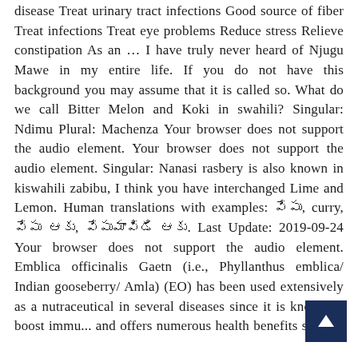disease Treat urinary tract infections Good source of fiber Treat infections Treat eye problems Reduce stress Relieve constipation As an … I have truly never heard of Njugu Mawe in my entire life. If you do not have this background you may assume that it is called so. What do we call Bitter Melon and Koki in swahili? Singular: Ndimu Plural: Machenza Your browser does not support the audio element. Your browser does not support the audio element. Singular: Nanasi rasbery is also known in kiswahili zabibu, I think you have interchanged Lime and Lemon. Human translations with examples: &#x0C01;&#x0C01;&#x0C01;&#x0C01;, curry, &#x0C01;&#x0C01;&#x0C01;&#x0C01; &#x0C01;&#x0C01;, &#x0C01;&#x0C01;&#x0C01;&#x0C01;&#x0C01; &#x0C01;&#x0C01;. Last Update: 2019-09-24 Your browser does not support the audio element. Emblica officinalis Gaetn (i.e., Phyllanthus emblica/ Indian gooseberry/ Amla) (EO) has been used extensively as a nutraceutical in several diseases since it is known to boost immu... and offers numerous health benefits such as